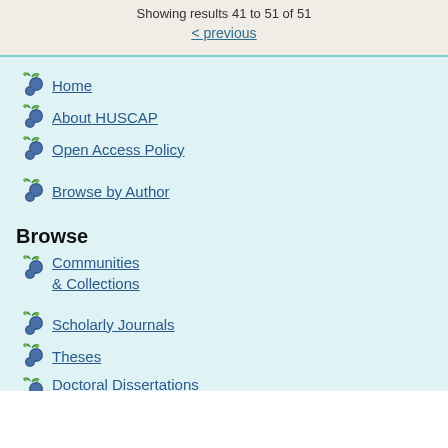Showing results 41 to 51 of 51
< previous
Home
About HUSCAP
Open Access Policy
Browse by Author
Browse
Communities & Collections
Scholarly Journals
Theses
Doctoral Dissertations Listed by Graduate Schools
Conference Procs.
Events